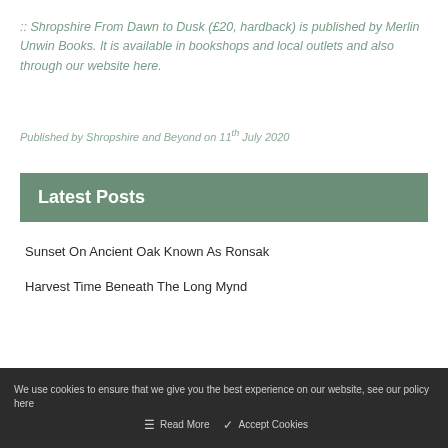:: Shropshire From Dawn to Dusk (£20, hardback) is published by Merlin Unwin Books. It is available in bookshops and local outlets and also through our website here.
Published by Shropshire and Beyond on 11th July 2020
Latest Posts
Sunset On Ancient Oak Known As Ronsak
Harvest Time Beneath The Long Mynd
We use cookies to ensure that we give you the best experience on our website, see our policy here   Read More   Accept Cookies